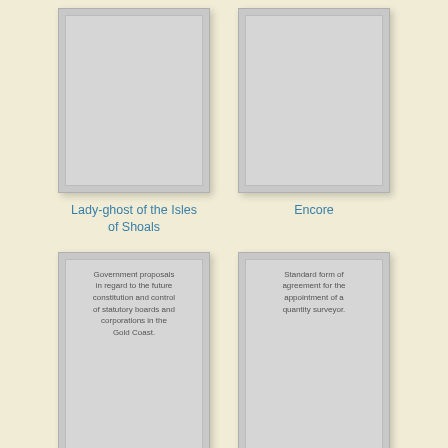[Figure (illustration): Grey book cover placeholder for 'Lady-ghost of the Isles of Shoals']
Lady-ghost of the Isles of Shoals
[Figure (illustration): Grey book cover placeholder for 'Encore']
Encore
[Figure (illustration): Grey book cover with text: Government proposals in regard to the future constitution and control of statutory boards and corporations in the Gold Coast.]
Government proposals in regard to the future constitution and control of statutory boards and
[Figure (illustration): Grey book cover with text: Standard form of agreement for the appointment of a quantity surveyor.]
Standard form of agreement for the appointment of a quantity surveyor.